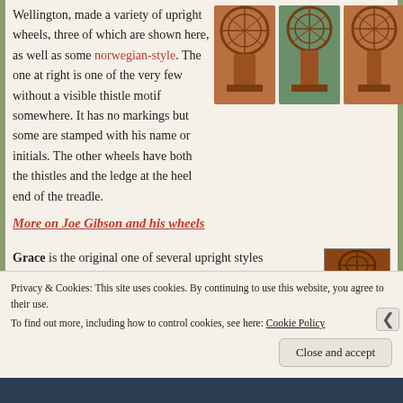Wellington, made a variety of upright wheels, three of which are shown here, as well as some norwegian-style. The one at right is one of the very few without a visible thistle motif somewhere. It has no markings but some are stamped with his name or initials. The other wheels have both the thistles and the ledge at the heel end of the treadle.
[Figure (photo): Three spinning wheels shown side by side - upright style wooden spinning wheels]
More on Joe Gibson and his wheels
Grace is the original one of several upright styles
[Figure (photo): Partial photo of a spinning wheel, reddish-brown wood, outdoors]
Privacy & Cookies: This site uses cookies. By continuing to use this website, you agree to their use. To find out more, including how to control cookies, see here: Cookie Policy
Close and accept